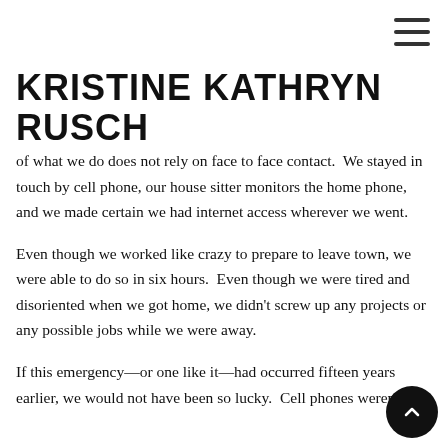KRISTINE KATHRYN RUSCH
of what we do does not rely on face to face contact.  We stayed in touch by cell phone, our house sitter monitors the home phone, and we made certain we had internet access wherever we went.
Even though we worked like crazy to prepare to leave town, we were able to do so in six hours.  Even though we were tired and disoriented when we got home, we didn't screw up any projects or any possible jobs while we were away.
If this emergency—or one like it—had occurred fifteen years earlier, we would not have been so lucky.  Cell phones weren't